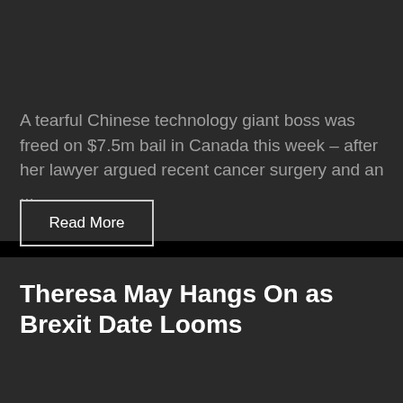A tearful Chinese technology giant boss was freed on $7.5m bail in Canada this week – after her lawyer argued recent cancer surgery and an ...
Read More
Theresa May Hangs On as Brexit Date Looms